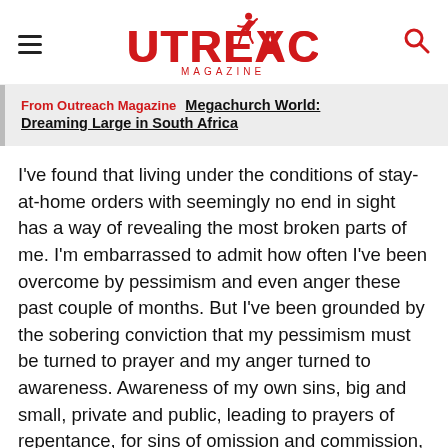Outreach Magazine
From Outreach Magazine Megachurch World: Dreaming Large in South Africa
I've found that living under the conditions of stay-at-home orders with seemingly no end in sight has a way of revealing the most broken parts of me. I'm embarrassed to admit how often I've been overcome by pessimism and even anger these past couple of months. But I've been grounded by the sobering conviction that my pessimism must be turned to prayer and my anger turned to awareness. Awareness of my own sins, big and small, private and public, leading to prayers of repentance, for sins of omission and commission, both past and present. Such a macro approach to